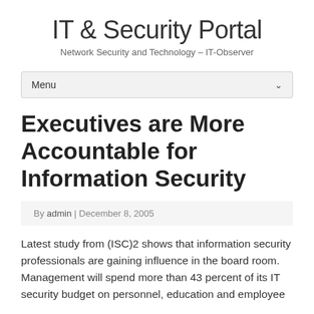IT & Security Portal
Network Security and Technology – IT-Observer
Executives are More Accountable for Information Security
By admin | December 8, 2005
Latest study from (ISC)2 shows that information security professionals are gaining influence in the board room. Management will spend more than 43 percent of its IT security budget on personnel, education and employee